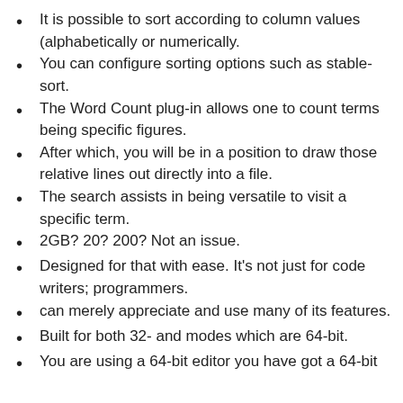It is possible to sort according to column values (alphabetically or numerically.
You can configure sorting options such as stable-sort.
The Word Count plug-in allows one to count terms being specific figures.
After which, you will be in a position to draw those relative lines out directly into a file.
The search assists in being versatile to visit a specific term.
2GB? 20? 200? Not an issue.
Designed for that with ease. It’s not just for code writers; programmers.
can merely appreciate and use many of its features.
Built for both 32- and modes which are 64-bit.
You are using a 64-bit editor you have got a 64-bit